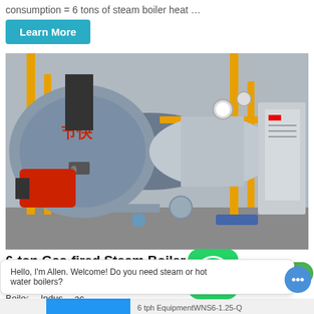consumption = 6 tons of steam boiler heat …
Learn More
[Figure (photo): Industrial gas-fired steam boiler in a factory setting, showing large cylindrical boiler with yellow railings, red burner unit, and a control panel cabinet on the right.]
6-ton Gas-fired Steam Boiler Project for Building Material
ZOZEN Boiler Customer6-ton Gas-fired Steam Boiler Project for Building Material Indus… ac
Hello, I'm Allen. Welcome! Do you need steam or hot water boilers?
6 tph EquipmentWNS6-1.25-Q